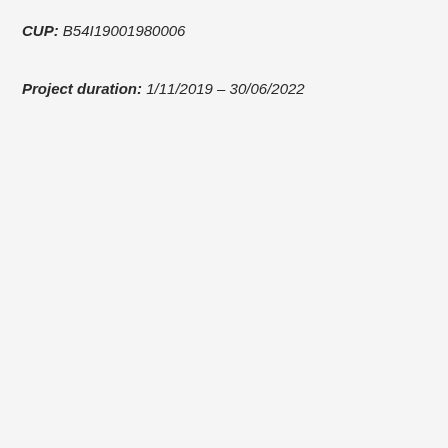CUP: B54I19001980006
Project duration: 1/11/2019 – 30/06/2022